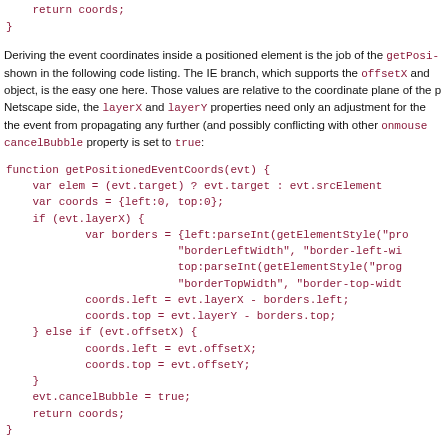return coords;
}
Deriving the event coordinates inside a positioned element is the job of the getPositionedEventCoords function shown in the following code listing. The IE branch, which supports the offsetX and offsetY properties of the event object, is the easy one here. Those values are relative to the coordinate plane of the positioned element. On the Netscape side, the layerX and layerY properties need only an adjustment for the border width. We also want to stop the event from propagating any further (and possibly conflicting with other onmousemove events), so the cancelBubble property is set to true:
function getPositionedEventCoords(evt) {
    var elem = (evt.target) ? evt.target : evt.srcElement
    var coords = {left:0, top:0};
    if (evt.layerX) {
            var borders = {left:parseInt(getElementStyle("pro
                          "borderLeftWidth", "border-left-wi
                          top:parseInt(getElementStyle("prog
                          "borderTopWidth", "border-top-widt
            coords.left = evt.layerX - borders.left;
            coords.top = evt.layerY - borders.top;
    } else if (evt.offsetX) {
            coords.left = evt.offsetX;
            coords.top = evt.offsetY;
    }
    evt.cancelBubble = true;
    return coords;
}
A compatibility complication must be accounted for, however. If the outer element has a border, Netscape and IE (in any mode) disagree whether the coordinate plane begins where the border